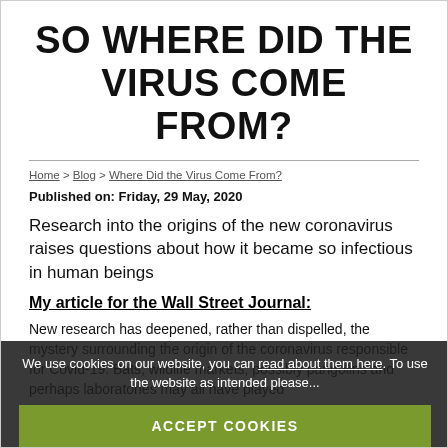SO WHERE DID THE VIRUS COME FROM?
Home > Blog > Where Did the Virus Come From?
Published on: Friday, 29 May, 2020
Research into the origins of the new coronavirus raises questions about how it became so infectious in human beings
My article for the Wall Street Journal:
New research has deepened, rather than dispelled, the mystery surrounding the origin of the coronavirus responsible for Covid-19. Bats, wildlife markets, possibly pangolins and perhaps laboratories may all have played some role, but the evidence is not pointing in any one direction and no longer looks as simple...
We use cookies on our website, you can read about them here. To use the website as intended please...
ACCEPT COOKIES